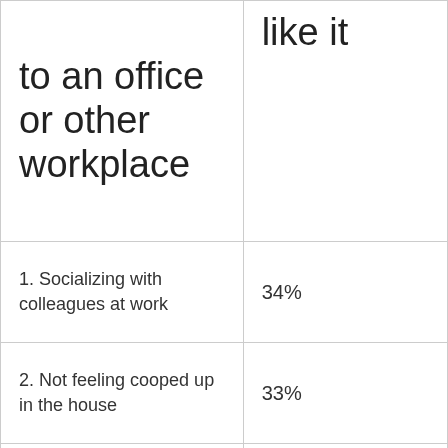| to an office or other workplace | like it |
| --- | --- |
| 1. Socializing with colleagues at work | 34% |
| 2. Not feeling cooped up in the house | 33% |
| 3. Socializing with colleagues after | 27% |